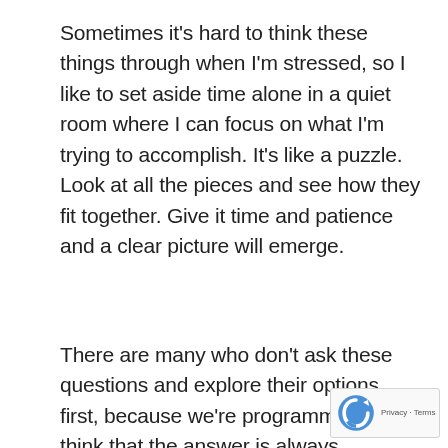Sometimes it's hard to think these things through when I'm stressed, so I like to set aside time alone in a quiet room where I can focus on what I'm trying to accomplish. It's like a puzzle. Look at all the pieces and see how they fit together. Give it time and patience and a clear picture will emerge.
There are many who don't ask these questions and explore their options first, because we're programmed to think that the answer is always "make more mone... So the easy answer is to take on more hours at work or get a second job. If...